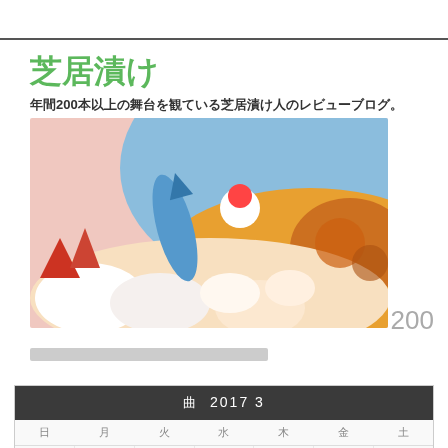芝居漬け
年間200本以上の舞台を観ている芝居漬け人のレビューブログ。
[Figure (illustration): Colorful illustrated banner with cartoon characters, rockets and colorful landscape in pink, blue, yellow tones]
200
████████████████████████
| 曜 | 曜 | 曜 | 曜 | 曜 | 曜 | 曜 |
| --- | --- | --- | --- | --- | --- | --- |
|  |  | 1 | 2 | 3 | 4 | 5 |
| 6 | 7 | 8 | 9 | 10 | 11 | 12 |
| 13 | 14 | 15 | 16 | 17 | 18 | 19 |